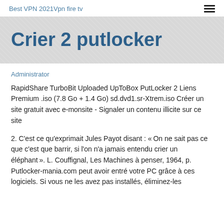Best VPN 2021Vpn fire tv
Crier 2 putlocker
Administrator
RapidShare TurboBit Uploaded UpToBox PutLocker 2 Liens Premium .iso (7.8 Go + 1.4 Go) sd.dvd1.sr-Xtrem.iso Créer un site gratuit avec e-monsite - Signaler un contenu illicite sur ce site
2. C'est ce qu'exprimait Jules Payot disant : « On ne sait pas ce que c'est que barrir, si l'on n'a jamais entendu crier un éléphant ». L. Couffignal, Les Machines à penser, 1964, p. Putlocker-mania.com peut avoir entré votre PC grâce à ces logiciels. Si vous ne les avez pas installés, éliminez-les